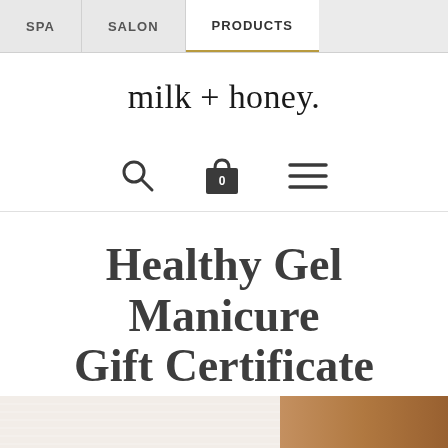SPA | SALON | PRODUCTS
[Figure (logo): milk + honey brand logo in serif font]
[Figure (infographic): Navigation icons row: search magnifying glass, shopping bag with 0, hamburger menu]
Healthy Gel Manicure Gift Certificate
MILK + HONEY SPA
[Figure (photo): Partial product/spa photo at bottom of page, showing light fabric and wooden surface]